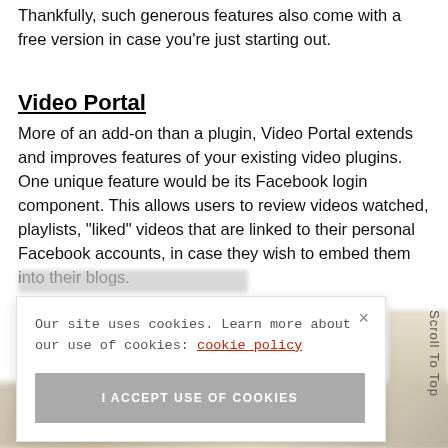Thankfully, such generous features also come with a free version in case you're just starting out.
Video Portal
More of an add-on than a plugin, Video Portal extends and improves features of your existing video plugins. One unique feature would be its Facebook login component. This allows users to review videos watched, playlists, “liked” videos that are linked to their personal Facebook accounts, in case they wish to embed them into their blogs.
[Figure (screenshot): Cookie consent banner overlay with text 'Our site uses cookies. Learn more about our use of cookies: cookie policy' and a button 'I ACCEPT USE OF COOKIES', plus a close X button. A 'Scroll To Top' label appears on the right side. Blurred image visible in background at bottom.]